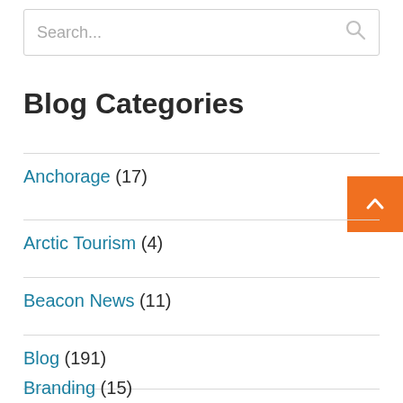Search...
Blog Categories
Anchorage (17)
Arctic Tourism (4)
Beacon News (11)
Blog (191)
Branding (15)